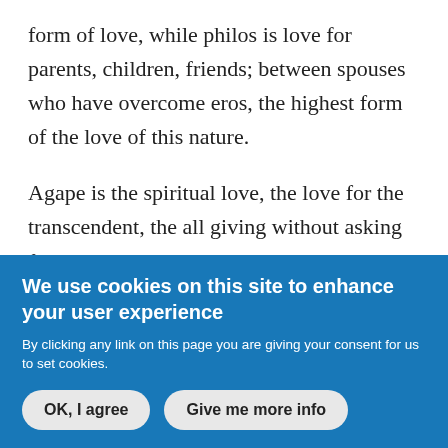form of love, while philos is love for parents, children, friends; between spouses who have overcome eros, the highest form of the love of this nature.
Agape is the spiritual love, the love for the transcendent, the all giving without asking for anything in return. We will now try to give an impression from this last point of view.
Narcissus is born from the watery encirclement
We use cookies on this site to enhance your user experience
By clicking any link on this page you are giving your consent for us to set cookies.